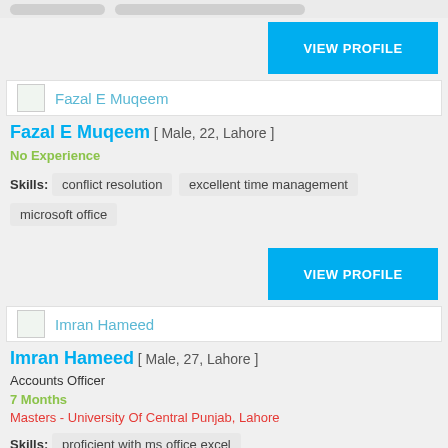[Figure (screenshot): Top bar with gray pill shapes (partially visible UI elements)]
VIEW PROFILE
Fazal E Muqeem
Fazal E Muqeem [ Male, 22, Lahore ]
No Experience
Skills: conflict resolution   excellent time management   microsoft office
VIEW PROFILE
Imran Hameed
Imran Hameed [ Male, 27, Lahore ]
Accounts Officer
7 Months
Masters - University Of Central Punjab, Lahore
Skills: proficient with ms office excel   proficient with cash handling   bank reconciliation statements